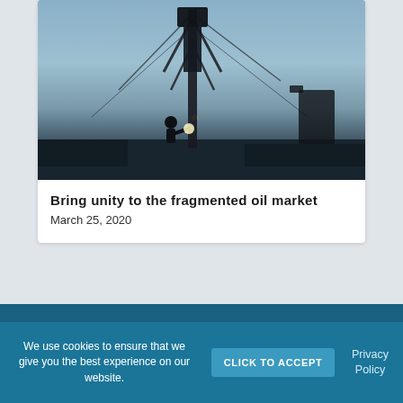[Figure (photo): Silhouette of a worker operating oil drilling rig equipment at dusk/sunset, with cables and machinery visible against a blue-grey sky]
Bring unity to the fragmented oil market
March 25, 2020
We use cookies to ensure that we give you the best experience on our website.
CLICK TO ACCEPT
Privacy Policy